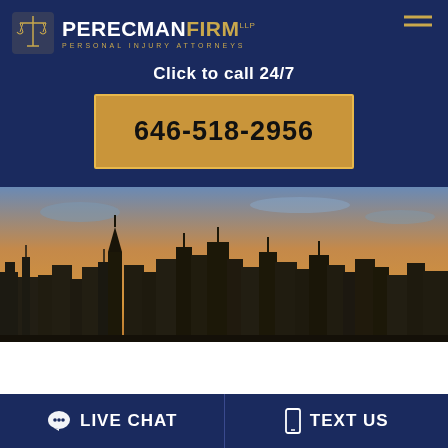[Figure (logo): Perecman Firm logo with scales of justice icon and text PERECMANFIRM PERSONAL INJURY ATTORNEYS]
Click to call 24/7
646-518-2956
[Figure (photo): New York City skyline at dusk with warm golden sky]
VIRAL VIDEO
LIVE CHAT
TEXT US